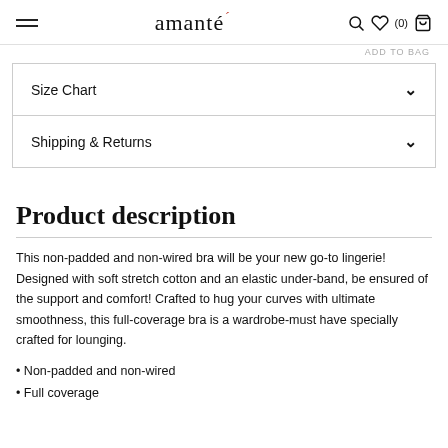amanté
Size Chart
Shipping & Returns
Product description
This non-padded and non-wired bra will be your new go-to lingerie! Designed with soft stretch cotton and an elastic under-band, be ensured of the support and comfort! Crafted to hug your curves with ultimate smoothness, this full-coverage bra is a wardrobe-must have specially crafted for lounging.
Non-padded and non-wired
Full coverage